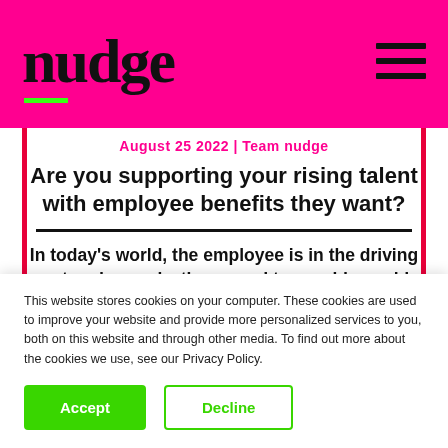nudge
August 25 2022 | Team nudge
Are you supporting your rising talent with employee benefits they want?
In today's world, the employee is in the driving seat and organizations need to provide world-class benefits to retain their
This website stores cookies on your computer. These cookies are used to improve your website and provide more personalized services to you, both on this website and through other media. To find out more about the cookies we use, see our Privacy Policy.